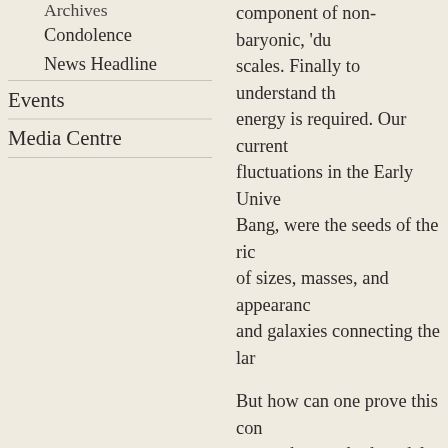Condolence
News Headline
Events
Media Centre
component of non-baryonic, 'dark matter' on large scales. Finally to understand the nature of dark energy is required. Our current picture is that fluctuations in the Early Universe, shortly after the Big Bang, were the seeds of the rich variety of structures of sizes, masses, and appearances, from small galaxies and galaxies connecting the lar
But how can one prove this cosmological model and to test the standard model empirically and the laws of gravity and relativity, analytically solving the equations has been an immense
Over the past four decades Simon White has developed N-body computer simulations to gain insights into cosmic structure formation and the evolution of cosmic structure build up. Using 'semi-analytic' models of the stellar and baryonic components in galaxies, White's theoretical predictions match a remarkable
White has investigated and illuminated galaxy formation. As early as 1976 he predicted what is expected during gravitational collapse to form galaxies. In 1978 White and Lo dissiparive, normal matter gas t